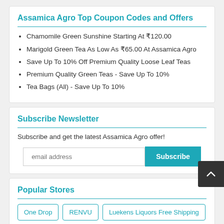Assamica Agro Top Coupon Codes and Offers
Chamomile Green Sunshine Starting At ₹120.00
Marigold Green Tea As Low As ₹65.00 At Assamica Agro
Save Up To 10% Off Premium Quality Loose Leaf Teas
Premium Quality Green Teas - Save Up To 10%
Tea Bags (All) - Save Up To 10%
Subscribe Newsletter
Subscribe and get the latest Assamica Agro offer!
Popular Stores
One Drop
RENVU
Luekens Liquors Free Shipping
Woom Free Shipping
Student Discount Foodhub